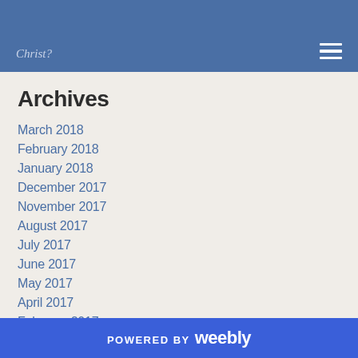Christ?
Archives
March 2018
February 2018
January 2018
December 2017
November 2017
August 2017
July 2017
June 2017
May 2017
April 2017
February 2017
January 2017
December 2016
November 2016
October 2016
POWERED BY weebly